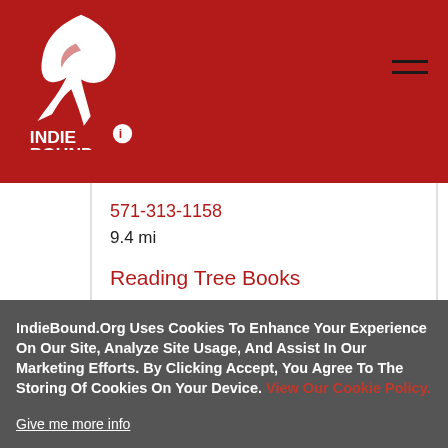[Figure (logo): IndieBound logo — white bird/feather graphic with text INDIE BOUND below, on dark red background]
571-313-1158
9.4 mi
Reading Tree Books
Herndon, VA 20170
540-470-0212
6.6 mi
IndieBound.Org Uses Cookies To Enhance Your Experience On Our Site, Analyze Site Usage, And Assist In Our Marketing Efforts. By Clicking Accept, You Agree To The Storing Of Cookies On Your Device. View Our Cookie Policy.
Give me more info